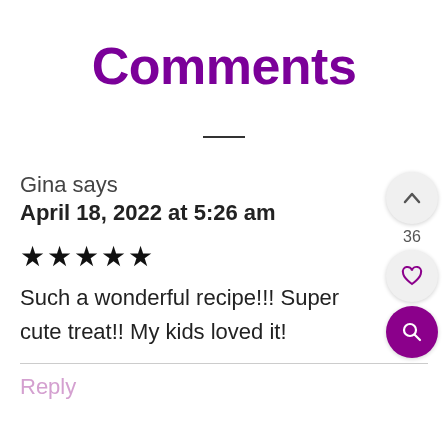Comments
Gina says
April 18, 2022 at 5:26 am
★★★★★
Such a wonderful recipe!!! Super cute treat!! My kids loved it!
Reply